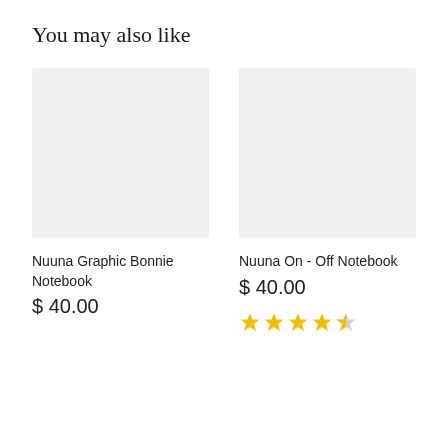You may also like
[Figure (photo): Product image placeholder (light gray box) for Nuuna Graphic Bonnie Notebook]
Nuuna Graphic Bonnie Notebook
$ 40.00
[Figure (photo): Product image placeholder (light gray box) for Nuuna On - Off Notebook]
Nuuna On - Off Notebook
$ 40.00
[Figure (other): Star rating: 4.5 out of 5 stars]